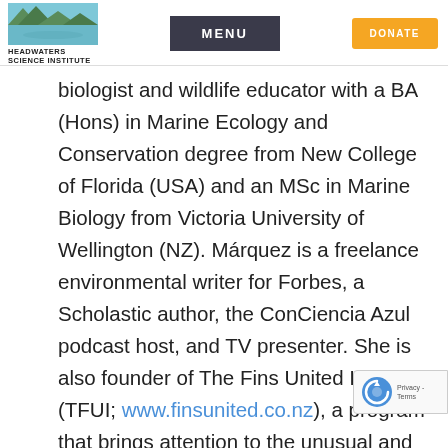HEADWATERS SCIENCE INSTITUTE | MENU | DONATE
biologist and wildlife educator with a BA (Hons) in Marine Ecology and Conservation degree from New College of Florida (USA) and an MSc in Marine Biology from Victoria University of Wellington (NZ). Márquez is a freelance environmental writer for Forbes, a Scholastic author, the ConCiencia Azul podcast host, and TV presenter. She is also founder of The Fins United Initiative (TFUI; www.finsunited.co.nz), a program that brings attention to the unusual and diverse sharks (and their relatives) of the world, the diverse scientists who study them and the threats these animals face. Márquez is currently doing her PhD at Curtin University,